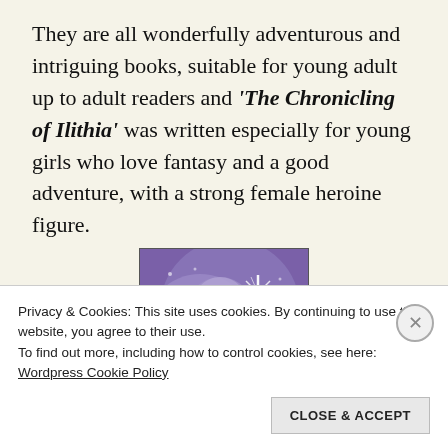They are all wonderfully adventurous and intriguing books, suitable for young adult up to adult readers and 'The Chronicling of Ilithia' was written especially for young girls who love fantasy and a good adventure, with a strong female heroine figure.
[Figure (illustration): Book cover for 'The Chronicling of Ilithia' showing a purple/violet fantasy scene with a face and sparkle of light, with the book title in white italic text at the bottom left.]
Privacy & Cookies: This site uses cookies. By continuing to use this website, you agree to their use.
To find out more, including how to control cookies, see here:
Wordpress Cookie Policy